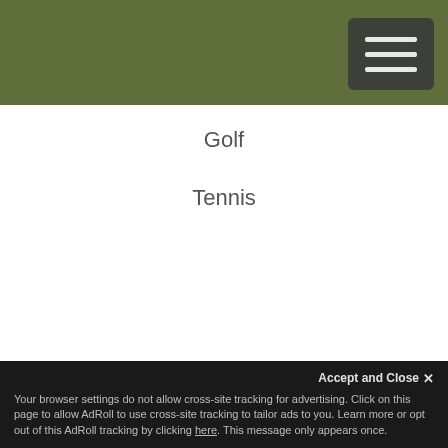[Figure (screenshot): Olive green navigation header bar with a dark hamburger menu button in the top right corner]
Golf
Tennis
Accept and Close ✕
Your browser settings do not allow cross-site tracking for advertising. Click on this page to allow AdRoll to use cross-site tracking to tailor ads to you. Learn more or opt out of this AdRoll tracking by clicking here. This message only appears once.